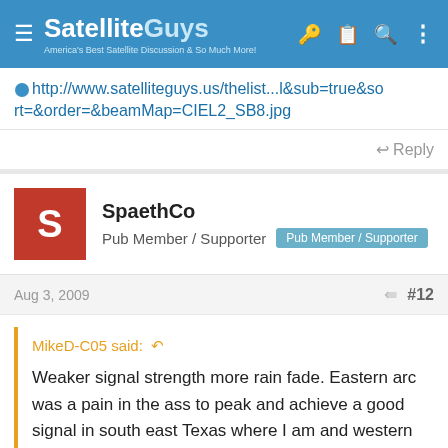Satellite Guys — America's Best Satellite Discussion & So Much More!
http://www.satelliteguys.us/thelist...l&sub=true&sort=&order=&beamMap=CIEL2_SB8.jpg
Reply
SpaethCo
Pub Member / Supporter   Pub Member / Supporter
Aug 3, 2009   #12
MikeD-C05 said:
Weaker signal strength more rain fade. Eastern arc was a pain in the ass to peak and achieve a good signal in south east Texas where I am and western arc is easier to peak.